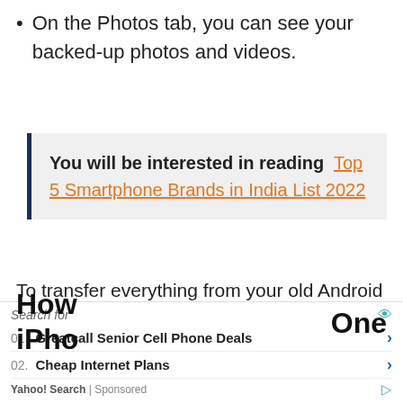On the Photos tab, you can see your backed-up photos and videos.
You will be interested in reading  Top 5 Smartphone Brands in India List 2022
To transfer everything from your old Android smartphone to your new one, literally, would mean also transferring your SMS and call records
[Figure (screenshot): Yahoo Search sponsored ad overlay showing: Search for, 01. Greatcall Senior Cell Phone Deals, 02. Cheap Internet Plans, Yahoo! Search | Sponsored]
How iPho
One